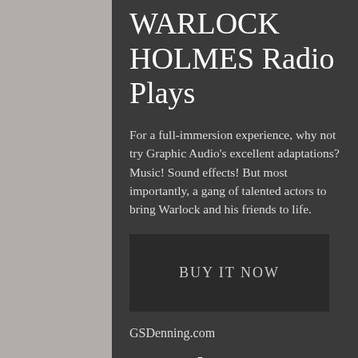WARLOCK HOLMES Radio Plays
For a full-immersion experience, why not try Graphic Audio's excellent adaptations? Music! Sound effects! But most importantly, a gang of talented actors to bring Warlock and his friends to life.
[Figure (other): A dark rectangular button with the text BUY IT NOW]
GSDenning.com
A Study in Brimstone
Book One. John Watson's new room-